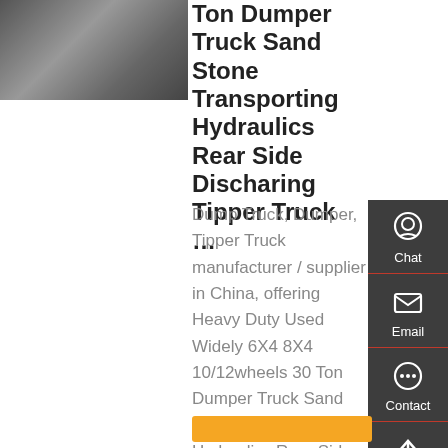[Figure (photo): Partial view of a dump/tipper truck, showing the cab and body area, grayscale tones]
Ton Dumper Truck Sand Stone Transporting Hydraulics Rear Side Discharing Tipper Truck …
Dump Truck, Dumper, Tipper Truck manufacturer / supplier in China, offering Heavy Duty Used Widely 6X4 8X4 10/12wheels 30 Ton Dumper Truck Sand Stone Transporting Hydraulics Rear Side Discharing Tipper Truck Cargo Dump Trucks, Multi-Function 371HP